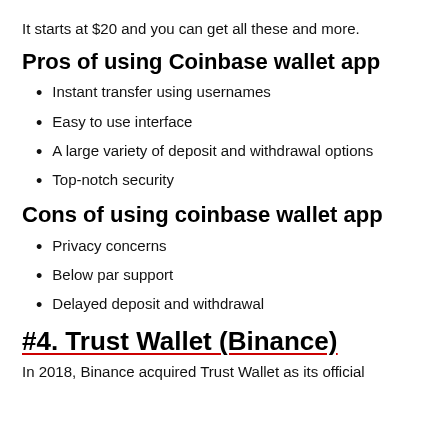It starts at $20 and you can get all these and more.
Pros of using Coinbase wallet app
Instant transfer using usernames
Easy to use interface
A large variety of deposit and withdrawal options
Top-notch security
Cons of using coinbase wallet app
Privacy concerns
Below par support
Delayed deposit and withdrawal
#4. Trust Wallet (Binance)
In 2018, Binance acquired Trust Wallet as its official